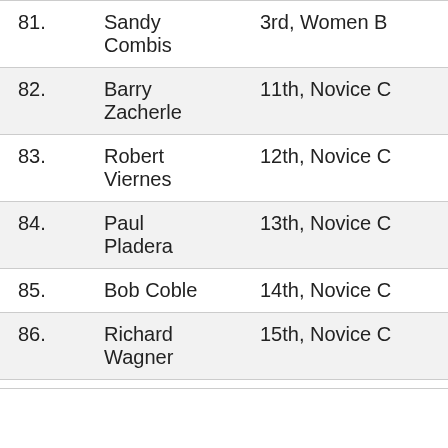| # | Name | Category | Time |
| --- | --- | --- | --- |
| 81. | Sandy Combis | 3rd, Women B | 1:39:03 |
| 82. | Barry Zacherle | 11th, Novice C | 1:39:30 |
| 83. | Robert Viernes | 12th, Novice C | 1:39:53 |
| 84. | Paul Pladera | 13th, Novice C | 1:40:03 |
| 85. | Bob Coble | 14th, Novice C | 1:45:45 |
| 86. | Richard Wagner | 15th, Novice C | 1:46:43 |